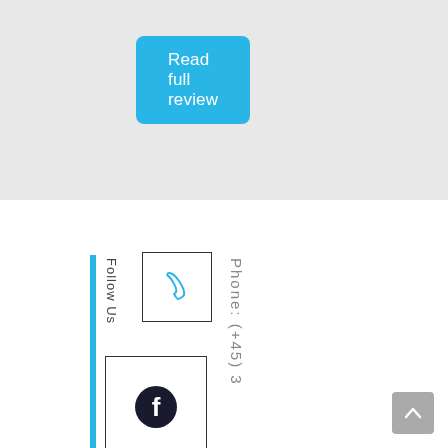Read full review
Follow Us
[Figure (other): Phone icon inside a bordered square box]
Phone: (+45) 3
[Figure (other): Facebook logo icon inside a bordered square box]
[Figure (other): Scroll-to-top arrow button in gray]